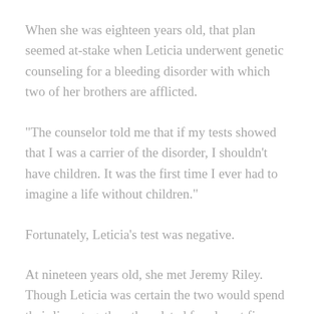When she was eighteen years old, that plan seemed at-stake when Leticia underwent genetic counseling for a bleeding disorder with which two of her brothers are afflicted.
"The counselor told me that if my tests showed that I was a carrier of the disorder, I shouldn't have children. It was the first time I ever had to imagine a life without children."
Fortunately, Leticia's test was negative.
At nineteen years old, she met Jeremy Riley. Though Leticia was certain the two would spend their lives together, they dated for almost five years before marrying.